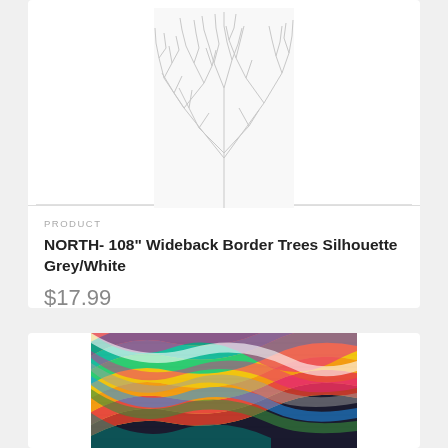[Figure (photo): Bare winter tree silhouette branches in grey/white, portrait orientation]
PRODUCT
NORTH- 108" Wideback Border Trees Silhouette Grey/White
$17.99
[Figure (photo): Colorful rainbow wavy stripe fabric pattern with multiple vivid colors including red, yellow, green, teal, blue, pink, white, and dark tones]